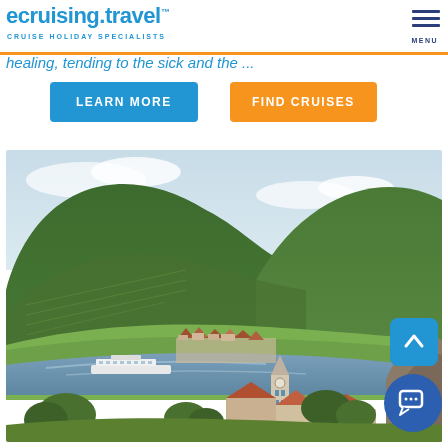ecruising.travel™ — CRUISE HOLIDAY SPECIALISTS
The goddess Elf is by many accounts the best of all. However they differ on the capacity in which she used her power. Some depict her as a goddess of healing, tending to the sick and the ...
LEARN MORE
FIND CRUISES
[Figure (photo): Aerial view of a river cruise ship on a wide river with green terraced hillsides, a medieval church tower and historic town in the foreground — Dürnstein, Wachau Valley, Austria.]